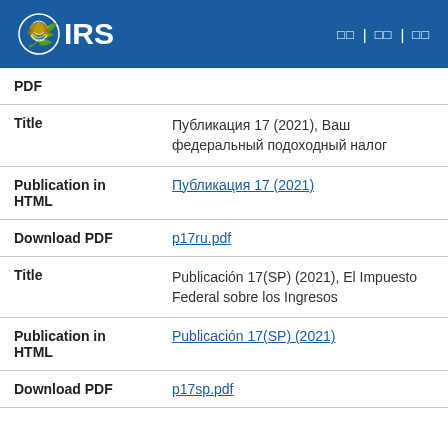IRS
| Field | Value |
| --- | --- |
| PDF |  |
| Title | Публикация 17 (2021), Ваш федеральный подоходный налог |
| Publication in HTML | Публикация 17 (2021) |
| Download PDF | p17ru.pdf |
| Title | Publicación 17(SP) (2021), El Impuesto Federal sobre los Ingresos |
| Publication in HTML | Publicación 17(SP) (2021) |
| Download PDF | p17sp.pdf |